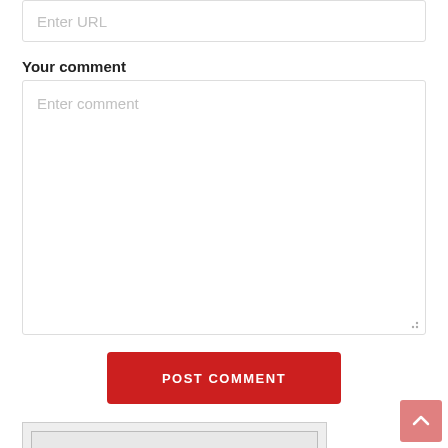Enter URL
Your comment
Enter comment
POST COMMENT
[Figure (photo): Person in a dark suit and patterned tie, torso/chest cropped view, shown inside a framed box within a larger box]
[Figure (other): Back to top button with upward arrow, pink/salmon colored square button]